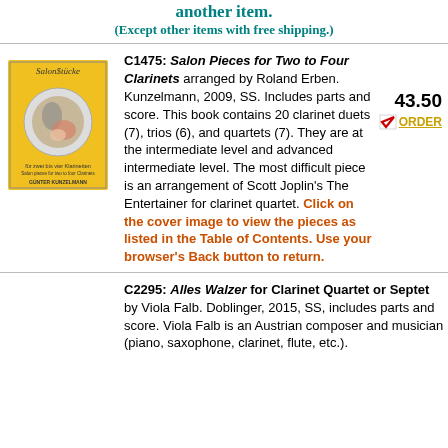make it $0; if ordered with another item. (Except other items with free shipping.)
C1475: Salon Pieces for Two to Four Clarinets arranged by Roland Erben. Kunzelmann, 2009, SS. Includes parts and score. This book contains 20 clarinet duets (7), trios (6), and quartets (7). They are at the intermediate level and advanced intermediate level. The most difficult piece is an arrangement of Scott Joplin's The Entertainer for clarinet quartet. Click on the cover image to view the pieces as listed in the Table of Contents. Use your browser's Back button to return.
[Figure (illustration): Yellow book cover of SalonStücke - Salon Pieces for Two to Four Clarinets, published by Kunzelmann]
43.50 ORDER
C2295: Alles Walzer for Clarinet Quartet or Septet by Viola Falb. Doblinger, 2015, SS, includes parts and score. Viola Falb is an Austrian composer and musician (piano, saxophone, clarinet, flute, etc.).